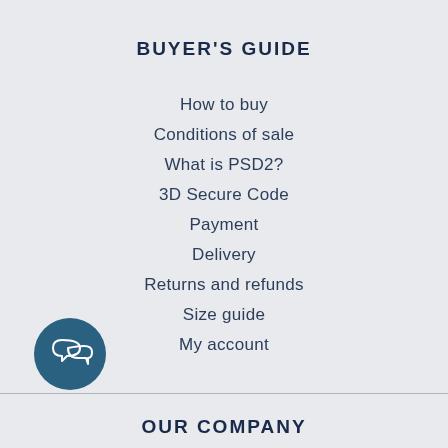BUYER'S GUIDE
How to buy
Conditions of sale
What is PSD2?
3D Secure Code
Payment
Delivery
Returns and refunds
Size guide
My account
[Figure (illustration): Chat bubble icon, two overlapping speech bubbles, white on dark teal circle background]
OUR COMPANY